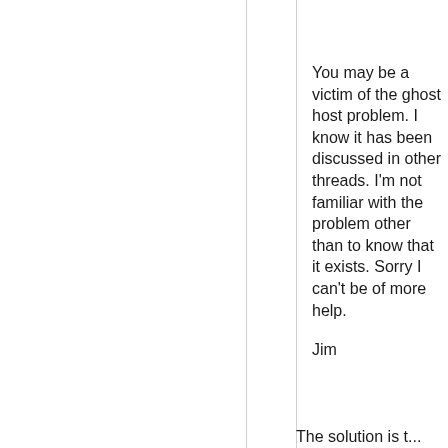You may be a victim of the ghost host problem. I know it has been discussed in other threads. I'm not familiar with the problem other than to know that it exists. Sorry I can't be of more help.

Jim
The solution is t...